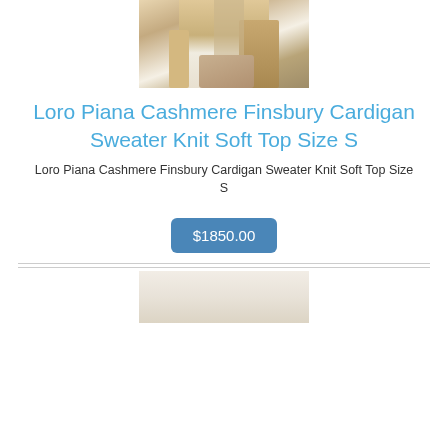[Figure (photo): Partial view of a person wearing a beige/cream cashmere cardigan sweater over white clothing, holding a bag]
Loro Piana Cashmere Finsbury Cardigan Sweater Knit Soft Top Size S
Loro Piana Cashmere Finsbury Cardigan Sweater Knit Soft Top Size S
$1850.00
[Figure (photo): Bottom portion of a product photo showing a cream/beige cashmere sweater]